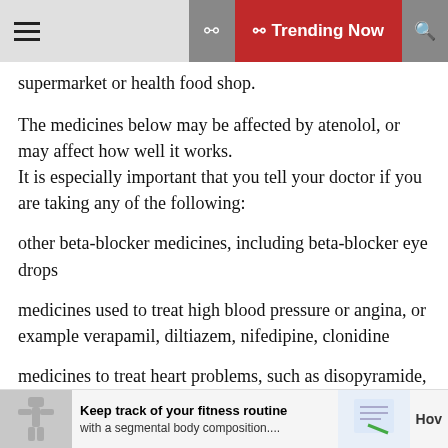Trending Now
supermarket or health food shop.
The medicines below may be affected by atenolol, or may affect how well it works. It is especially important that you tell your doctor if you are taking any of the following:
other beta-blocker medicines, including beta-blocker eye drops
medicines used to treat high blood pressure or angina, or example verapamil, diltiazem, nifedipine, clonidine
medicines to treat heart problems, such as disopyramide, quinidine, digoxin, amiodarone
Keep track of your fitness routine with a segmental body composition.... How